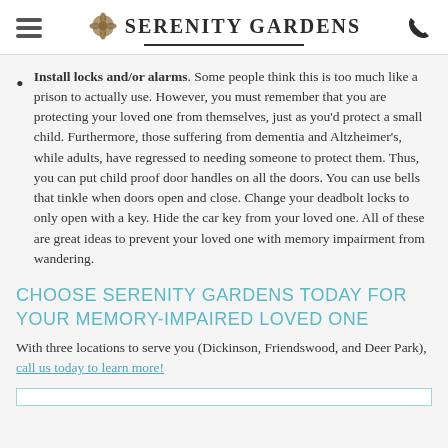Serenity Gardens
Install locks and/or alarms. Some people think this is too much like a prison to actually use. However, you must remember that you are protecting your loved one from themselves, just as you'd protect a small child. Furthermore, those suffering from dementia and Altzheimer's, while adults, have regressed to needing someone to protect them. Thus, you can put child proof door handles on all the doors. You can use bells that tinkle when doors open and close. Change your deadbolt locks to only open with a key. Hide the car key from your loved one. All of these are great ideas to prevent your loved one with memory impairment from wandering.
CHOOSE SERENITY GARDENS TODAY FOR YOUR MEMORY-IMPAIRED LOVED ONE
With three locations to serve you (Dickinson, Friendswood, and Deer Park), call us today to learn more!